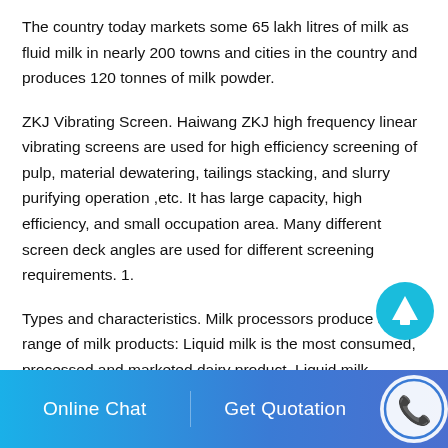The country today markets some 65 lakh litres of milk as fluid milk in nearly 200 towns and cities in the country and produces 120 tonnes of milk powder.
ZKJ Vibrating Screen. Haiwang ZKJ high frequency linear vibrating screens are used for high efficiency screening of pulp, material dewatering, tailings stacking, and slurry purifying operation ,etc. It has large capacity, high efficiency, and small occupation area. Many different screen deck angles are used for different screening requirements. 1.
Types and characteristics. Milk processors produce a wide range of milk products: Liquid milk is the most consumed, processed and marketed dairy product. Liquid milk includes products such
[Figure (other): Cyan circular button with upward arrow icon (scroll to top / navigate up button)]
Online Chat | Get Quotation